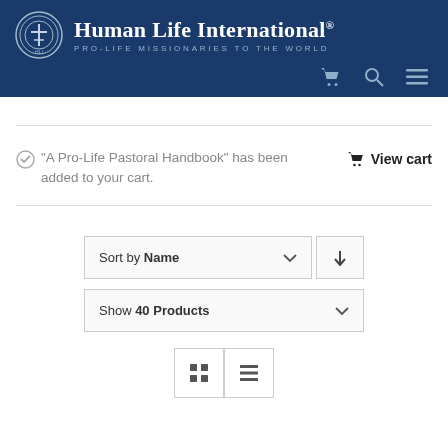Human Life International® PRO-LIFE MISSIONARIES TO THE WORLD
"A Pro-Life Pastoral Handbook" has been added to your cart.
View cart
Sort by Name
Show 40 Products